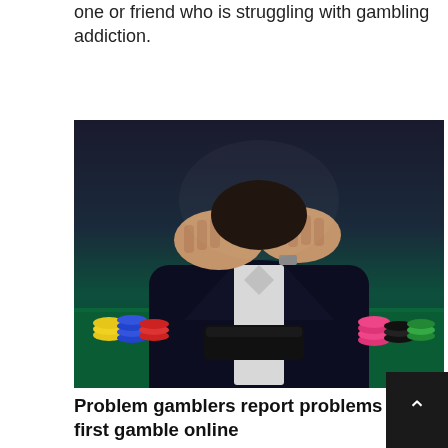one or friend who is struggling with gambling addiction.
[Figure (photo): Person in dark suit sitting at a poker/casino table with their head in their hands in despair. Poker chips of various colors (yellow, blue, red, green, black, white) are visible on the green felt table, along with a black wallet.]
Problem gamblers report problems after they first gamble online
Despite the recent focus on problem gambling among Internet users, it's important to